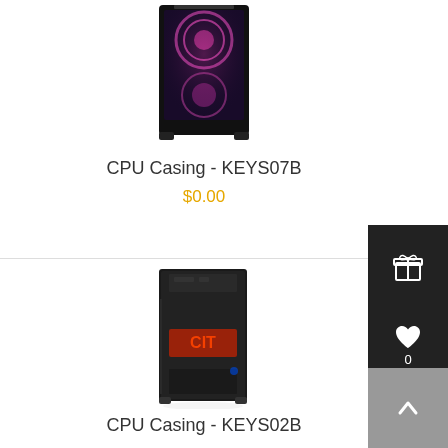[Figure (photo): RGB gaming PC tower case (KEYS07B) with pink/purple lighting and tempered glass side panel, partially cropped at top]
CPU Casing - KEYS07B
$0.00
[Figure (photo): Black mid-tower PC case (KEYS02B) with red LED accent lighting on front panel]
CPU Casing - KEYS02B